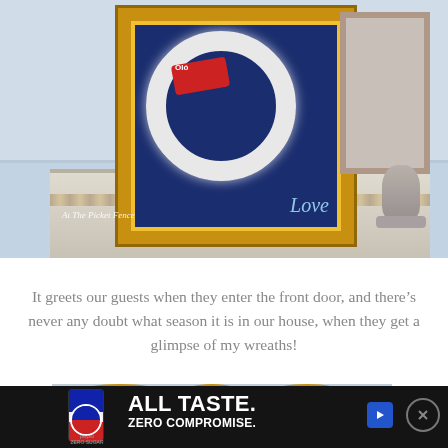[Figure (photo): Interior decorating photo showing a gold ornate framed artwork with a white feather wreath and 'Love' text on a navy background, displayed on a marble-topped console table with a smaller frame and pineapple figurine beside it. Watermark reads 'At The Picket Fence'.]
It greets our guests when they enter the front door, and there's never any doubt what season it is in our house, when they get a glimpse of my wreaths!
[Figure (photo): Bottom portion of a photo showing a large gold ornate empty frame against a light blue background.]
[Figure (photo): Advertisement banner: Pepsi can with text 'ALL TASTE. ZERO COMPROMISE.' on dark background with play button and close button.]